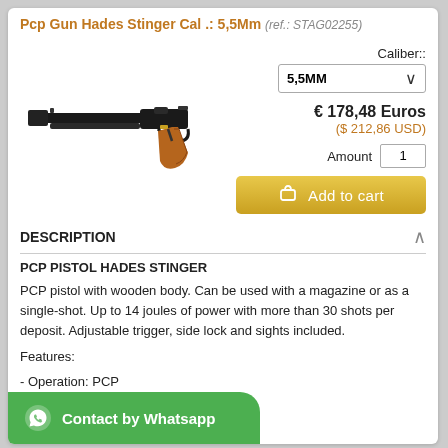Pcp Gun Hades Stinger Cal .: 5,5Mm (ref.: STAG02255)
[Figure (photo): PCP air pistol with black barrel and brown wooden grip, side view]
Caliber:: 5,5MM
€ 178,48 Euros
($ 212,86 USD)
Amount 1
Add to cart
DESCRIPTION
PCP PISTOL HADES STINGER
PCP pistol with wooden body. Can be used with a magazine or as a single-shot. Up to 14 joules of power with more than 30 shots per deposit. Adjustable trigger, side lock and sights included.
Features:
- Operation: PCP
- Air capacity: 65 cc